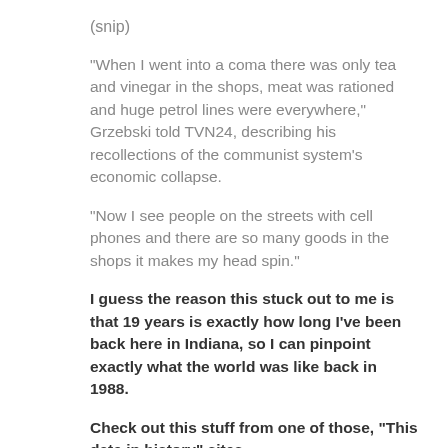(snip)
"When I went into a coma there was only tea and vinegar in the shops, meat was rationed and huge petrol lines were everywhere," Grzebski told TVN24, describing his recollections of the communist system's economic collapse.
"Now I see people on the streets with cell phones and there are so many goods in the shops it makes my head spin."
I guess the reason this stuck out to me is that 19 years is exactly how long I've been back here in Indiana, so I can pinpoint exactly what the world was like back in 1988.
Check out this stuff from one of those, "This date in history" sites.